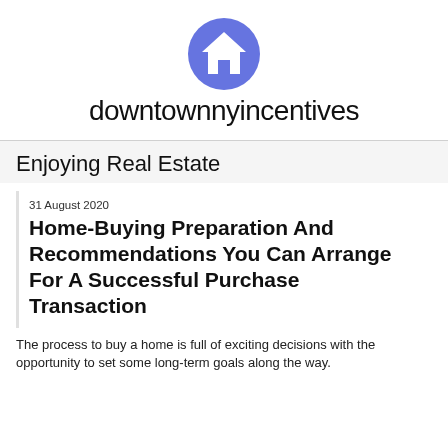[Figure (logo): Blue circle with white house icon — logo for downtownnyincentives]
downtownnyincentives
Enjoying Real Estate
31 August 2020
Home-Buying Preparation And Recommendations You Can Arrange For A Successful Purchase Transaction
The process to buy a home is full of exciting decisions with the opportunity to set some long-term goals along the way.